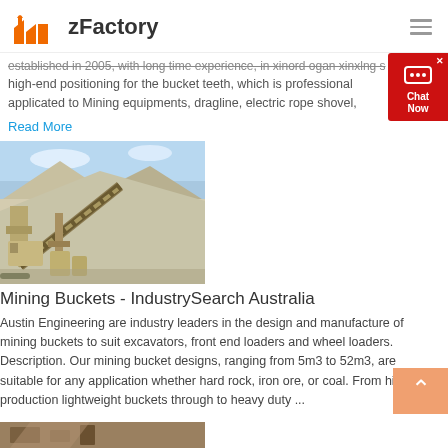zFactory
established in 2005, with long time experience, in xinord ogan xinxlng s high-end positioning for the bucket teeth, which is professional applicated to Mining equipments, dragline, electric rope shovel,
Read More
[Figure (photo): Mining equipment with conveyor belt and aggregate pile at a quarry or mining site]
Mining Buckets - IndustrySearch Australia
Austin Engineering are industry leaders in the design and manufacture of mining buckets to suit excavators, front end loaders and wheel loaders. Description. Our mining bucket designs, ranging from 5m3 to 52m3, are suitable for any application whether hard rock, iron ore, or coal. From high production lightweight buckets through to heavy duty ...
Read More
[Figure (photo): Bottom partial image strip showing mining equipment]